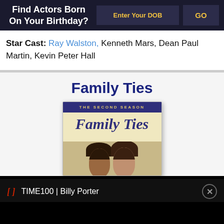Find Actors Born On Your Birthday?
Star Cast: Ray Walston, Kenneth Mars, Dean Paul Martin, Kevin Peter Hall
Family Ties
[Figure (photo): DVD cover of Family Ties: The Second Season showing the show logo in purple script font on cream background, with a purple banner reading THE SECOND SEASON at the top, and two cast members' faces visible at the bottom]
TIME100 | Billy Porter